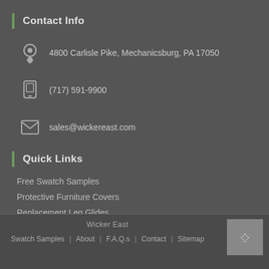Contact Info
4800 Carlisle Pike, Mechanicsburg, PA 17050
(717) 591-9900
sales@wickereast.com
Quick Links
Free Swatch Samples
Protective Furniture Covers
Replacement Leg Glides
Touch-up Paint
Wicker East | Swatch Samples | About | F.A.Q.s | Contact | Sitemap